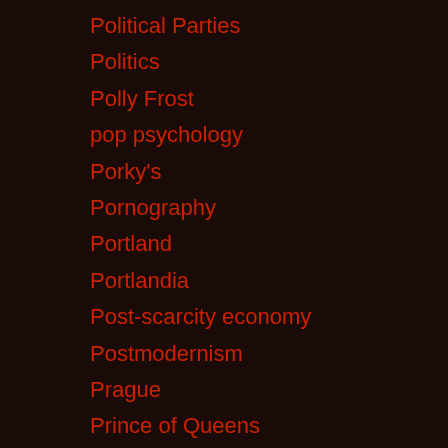Political Parties
Politics
Polly Frost
pop psychology
Porky's
Pornography
Portland
Portlandia
Post-scarcity economy
Postmodernism
Prague
Prince of Queens
Prison
Prison Industrial Complex
Prison Rape